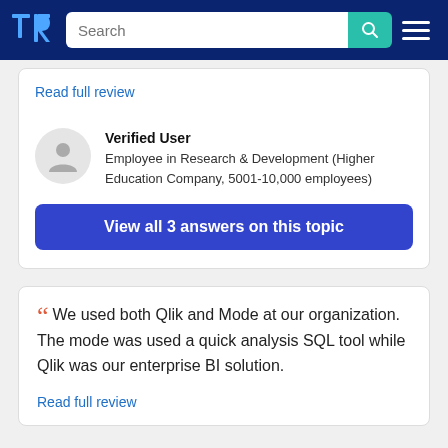TrustRadius navigation bar with search
Read full review
Verified User
Employee in Research & Development (Higher Education Company, 5001-10,000 employees)
View all 3 answers on this topic
We used both Qlik and Mode at our organization. The mode was used a quick analysis SQL tool while Qlik was our enterprise BI solution.
Read full review